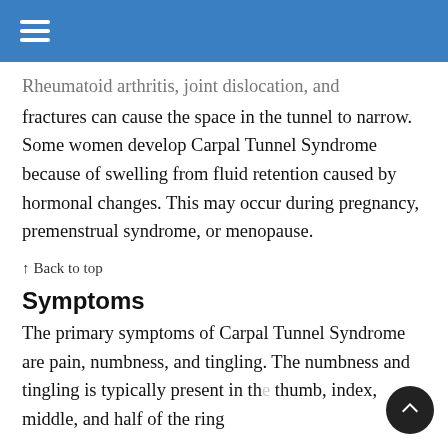☰
Rheumatoid arthritis, joint dislocation, and fractures can cause the space in the tunnel to narrow. Some women develop Carpal Tunnel Syndrome because of swelling from fluid retention caused by hormonal changes. This may occur during pregnancy, premenstrual syndrome, or menopause.
↑ Back to top
Symptoms
The primary symptoms of Carpal Tunnel Syndrome are pain, numbness, and tingling. The numbness and tingling is typically present in the thumb, index, middle, and half of the ring